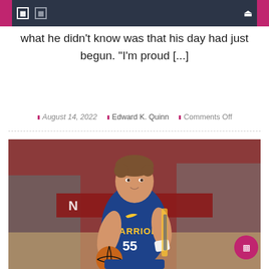Navigation bar with menu icons and search
what he didn't know was that his day had just begun. "I'm proud [...]
August 14, 2022 | Edward K. Quinn | Comments Off
[Figure (photo): Basketball player wearing Golden State Warriors #55 jersey dribbling ball during game, crowd in background]